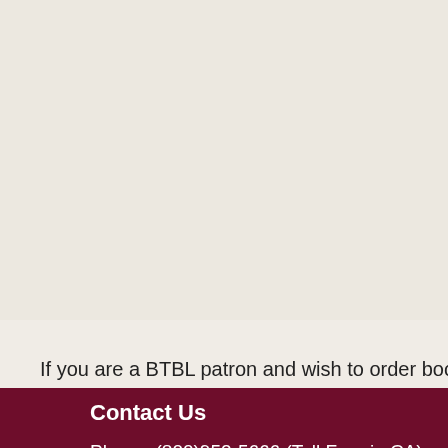Churchwell, Sara
DB093116
2018
11 hours, 24 min
Digital Book
Select All  Clear All  Add Se
If you are a BTBL patron and wish to order books via th
Contact Us
Phone: (800)952-5666 (Toll Free in CA) or (916)654-
Hours: Monday through Friday, 9:30 AM - 4:00 PM